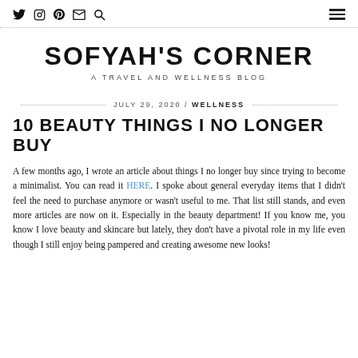Navigation bar with social icons (Twitter, Instagram, Pinterest, Email, Search) and hamburger menu
SOFYAH'S CORNER
A TRAVEL AND WELLNESS BLOG
JULY 29, 2020 / WELLNESS
10 BEAUTY THINGS I NO LONGER BUY
A few months ago, I wrote an article about things I no longer buy since trying to become a minimalist. You can read it HERE. I spoke about general everyday items that I didn't feel the need to purchase anymore or wasn't useful to me. That list still stands, and even more articles are now on it. Especially in the beauty department! If you know me, you know I love beauty and skincare but lately, they don't have a pivotal role in my life even though I still enjoy being pampered and creating awesome new looks!